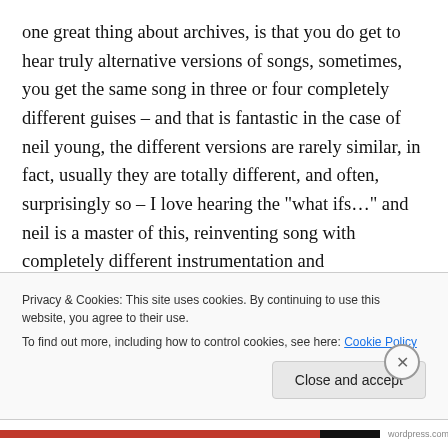one great thing about archives, is that you do get to hear truly alternative versions of songs, sometimes, you get the same song in three or four completely different guises – and that is fantastic in the case of neil young, the different versions are rarely similar, in fact, usually they are totally different, and often, surprisingly so – I love hearing the "what ifs…" and neil is a master of this, reinventing song with completely different instrumentation and arrangements – and that is brilliant in itself, but it also shows just how good the songs are – because in most
Privacy & Cookies: This site uses cookies. By continuing to use this website, you agree to their use.
To find out more, including how to control cookies, see here: Cookie Policy